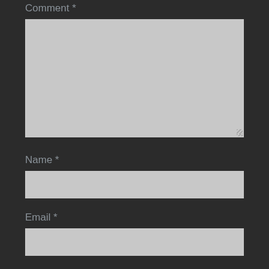Comment *
[Figure (screenshot): Large textarea input field with grey background]
Name *
[Figure (screenshot): Single-line text input field with grey background]
Email *
[Figure (screenshot): Single-line text input field with grey background]
Website
[Figure (screenshot): Single-line text input field with grey background, partially visible]